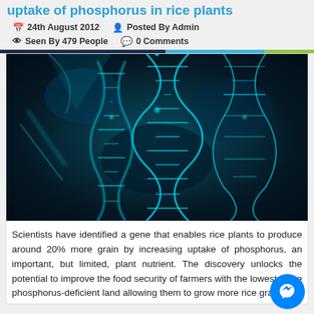uptake of phosphorus in rice plants
24th August 2012   Posted By Admin   Seen By 479 People   0 Comments
[Figure (photo): Digital illustration of glowing cyan DNA double helix strands on a dark background]
Scientists have identified a gene that enables rice plants to produce around 20% more grain by increasing uptake of phosphorus, an important, but limited, plant nutrient. The discovery unlocks the potential to improve the food security of farmers with the lowest value phosphorus-deficient land allowing them to grow more rice grains to